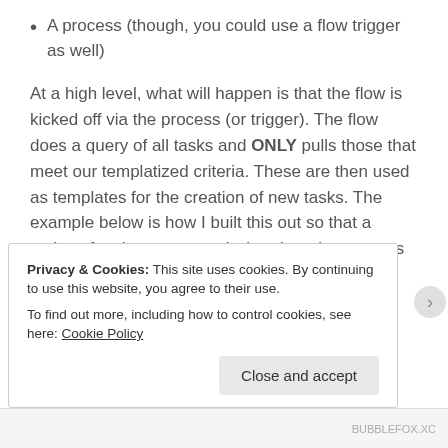A process (though, you could use a flow trigger as well)
At a high level, what will happen is that the flow is kicked off via the process (or trigger). The flow does a query of all tasks and ONLY pulls those that meet our templatized criteria. These are then used as templates for the creation of new tasks. The example below is how I built this out so that a series of tasks are created when I mark a case as “Ready for Coffee”.
Privacy & Cookies: This site uses cookies. By continuing to use this website, you agree to their use.
To find out more, including how to control cookies, see here: Cookie Policy
Close and accept